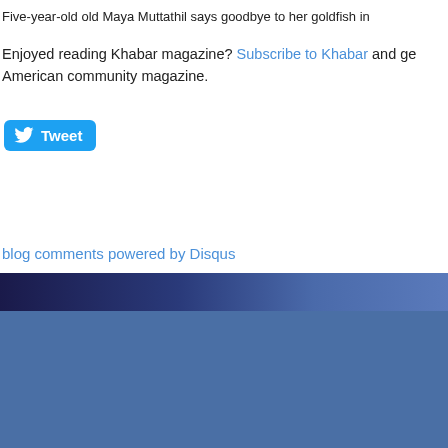Five-year-old old Maya Muttathil says goodbye to her goldfish in
Enjoyed reading Khabar magazine? Subscribe to Khabar and get... American community magazine.
[Figure (other): Tweet button with Twitter bird icon]
blog comments powered by Disqus
Back to articles
[Figure (other): Footer with dark navy stripe gradient and blue background area]